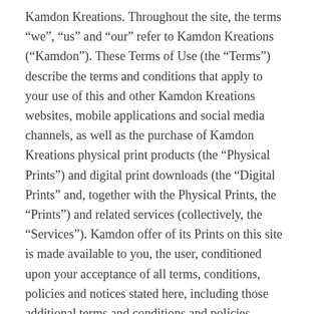Kamdon Kreations. Throughout the site, the terms “we”, “us” and “our” refer to Kamdon Kreations (“Kamdon”). These Terms of Use (the “Terms”) describe the terms and conditions that apply to your use of this and other Kamdon Kreations websites, mobile applications and social media channels, as well as the purchase of Kamdon Kreations physical print products (the “Physical Prints”) and digital print downloads (the “Digital Prints” and, together with the Physical Prints, the “Prints”) and related services (collectively, the “Services”). Kamdon offer of its Prints on this site is made available to you, the user, conditioned upon your acceptance of all terms, conditions, policies and notices stated here, including those additional terms and conditions and policies referenced herein and/or available by hyperlink. By accessing, using or interacting with the Services in any way, whether as a browser, vendor, customer, merchant and/or contributor of content, you agree to be bound by these Terms.
If you do not agree to all the terms and conditions of this